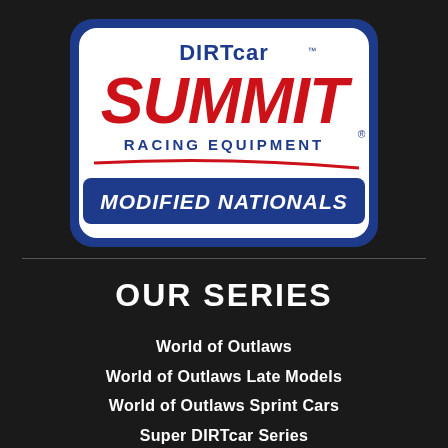[Figure (logo): DIRTcar Summit Racing Equipment Modified Nationals logo — white rounded rectangle badge with blue border; red stylized 'Summit' lettering in center; 'DIRTcar' text at top in blue/red; 'RACING EQUIPMENT' in blue below Summit; red swoosh and 'MODIFIED NATIONALS' in white italic on blue banner at bottom.]
OUR SERIES
World of Outlaws
World of Outlaws Late Models
World of Outlaws Sprint Cars
Super DIRTcar Series
Xtreme Outlaw Series